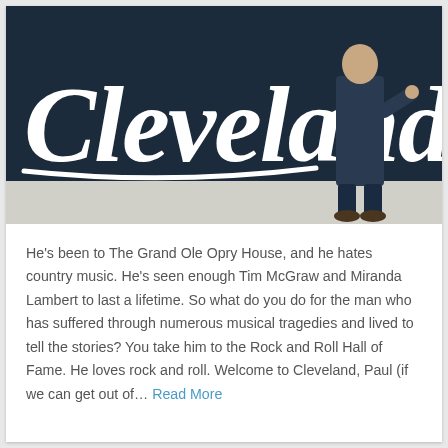[Figure (photo): A bald man in a dark suit standing in front of a large dark navy wall with 'Cleveland' written in large white cursive script lettering. The man is posing with one hand touching the wall near the lettering.]
He's been to The Grand Ole Opry House, and he hates country music. He's seen enough Tim McGraw and Miranda Lambert to last a lifetime. So what do you do for the man who has suffered through numerous musical tragedies and lived to tell the stories? You take him to the Rock and Roll Hall of Fame. He loves rock and roll. Welcome to Cleveland, Paul (if we can get out of… Read More